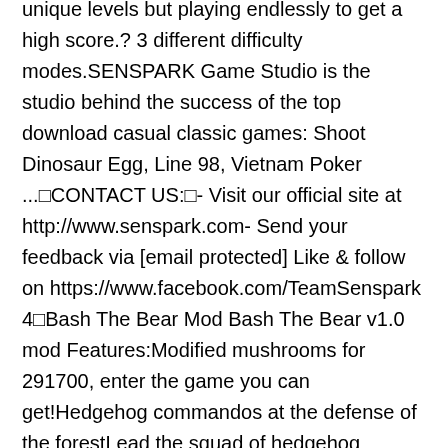unique levels but playing endlessly to get a high score.? 3 different difficulty modes.SENSPARK Game Studio is the studio behind the success of the top download casual classic games: Shoot Dinosaur Egg, Line 98, Vietnam Poker ...□CONTACT US:□- Visit our official site at http://www.senspark.com- Send your feedback via [email protected] Like & follow on https://www.facebook.com/TeamSenspark 4□Bash The Bear Mod Bash The Bear v1.0 mod Features:Modified mushrooms for 291700, enter the game you can get!Hedgehog commandos at the defense of the forestLead the squad of hedgehog commandos in reclaiming the mushrooms stolen by the lazy bear from the forest animals. Work out a plan, put your prickly friends in place, and light the fuze! Teach the old rascal a lesson – show him who is the boss here!"Get ready to have real fun! Lead the squad of hedgehog commandos in reclaiming the mushrooms stolen by the lazy bear from the poor forest animals. Work out an elaborate attack plan, put your prickly